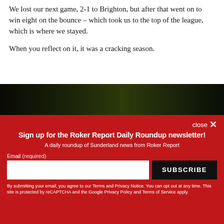We lost our next game, 2-1 to Brighton, but after that went on to win eight on the bounce – which took us to the top of the league, which is where we stayed.
When you reflect on it, it was a cracking season.
[Figure (photo): Dark outdoor photo strip, likely a football stadium scene at night]
close ×
Sign up for the Roker Report Daily Roundup newsletter!
A daily roundup of Sunderland news from Roker Report
Email (required)
SUBSCRIBE
By submitting your email, you agree to our Terms and Privacy Notice. You can opt out at any time. This site is protected by reCAPTCHA and the Google Privacy Policy and Terms of Service apply.